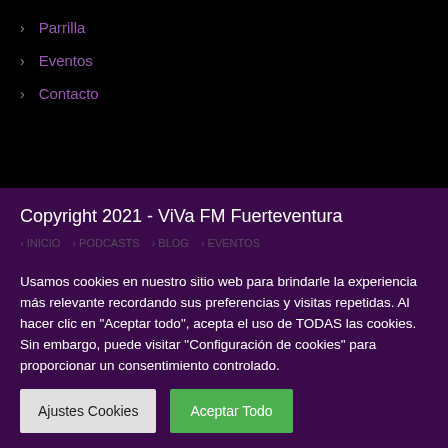> Parrilla
> Eventos
> Contacto
Copyright 2021 - ViVa FM Fuerteventura
> INICIO > PODCASTS > BLOG > EVENTOS
Usamos cookies en nuestro sitio web para brindarle la experiencia más relevante recordando sus preferencias y visitas repetidas. Al hacer clic en "Aceptar todo", acepta el uso de TODAS las cookies. Sin embargo, puede visitar "Configuración de cookies" para proporcionar un consentimiento controlado.